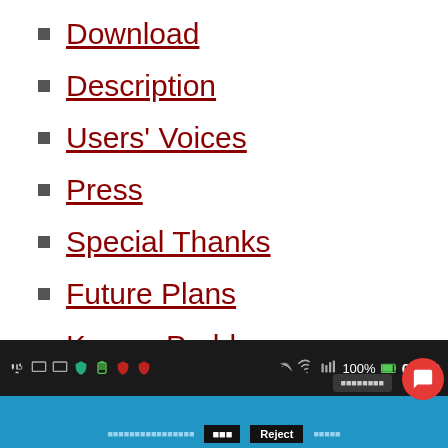Download
Description
Users' Voices
Press
Special Thanks
Future Plans
Known Problems
Updates
[Figure (screenshot): Android device status bar showing USB, various system icons, 100% battery, and time 03:36, followed by a blue notification/cookie consent bar with Reject button and red FAB chat icon]